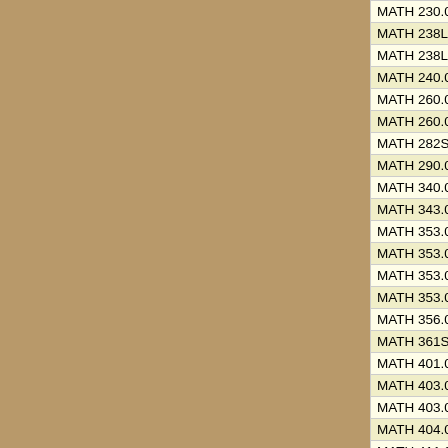| Course | Instructor | Title (truncated) |
| --- | --- | --- |
| MATH 230.03 | Lee, Holden | PRO... |
| MATH 238L.001 | Bendich, Paul | DAT... |
| MATH 238L.01L | Bendich, Paul | DAT... |
| MATH 240.01 | Daubechies, Ingrid | INTR... |
| MATH 260.01 | Autry, Eric | PYT... |
| MATH 260.02 | Autry, Eric | PYT... |
| MATH 282S.01 | Ciocanel, Maria-Veronica | MAT... |
| MATH 290.01 | Pierce, Lillian | SPE... |
| MATH 340.01 | Nolen, James | ADV... |
| MATH 343.01 | Xu, Jason | STA... |
| MATH 353.01 | Venakides, Stephanos | ORD... |
| MATH 353.02 | Wong, Jeffrey | ORD... |
| MATH 353.03 | He, Siming | ORD... |
| MATH 353.04 | He, Siming | ORD... |
| MATH 356.01 | Kazaras, Demetre | ELE... |
| MATH 361S.01 | Wong, Jeffrey | MAT... |
| MATH 401.01 | Wang, Jiuya | INTR... |
| MATH 403.01 | Miller, Ezra | ADV... |
| MATH 403.02 | Miller, Ezra | ADV... |
| MATH 404.01 | Dasgupta, Samit | MAT... |
| MATH 411.01 | Wagner, Alexander | TOP... |
| MATH 421.01 | Aspinwall, Paul | DIFF... |
| MATH 431.01 | Hebbar, Pratima | INTR... |
| MATH 453.01 | Venakides, Stephanos | INTR... |
| MATH 466.01 | Solomon, Yitzchak | MAT... |
| MATH 477S.01 | ... | ... |